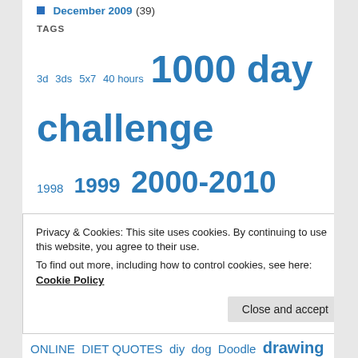December 2009 (39)
TAGS
3d  3ds  5x7  40 hours  1000 day challenge  1998  1999  2000-2010  2002  2005  2006  2009  2010  2011  2012  2013  2014  abstract  acylic  Airport  allergies  Allergy Tips  anatomy  and other Online markets  animals  art  ART CHALLENGES  artfolio  bfa  blog  blogs  blogs and websites  bone  book  boutique  brain  brick
Privacy & Cookies: This site uses cookies. By continuing to use this website, you agree to their use.
To find out more, including how to control cookies, see here: Cookie Policy
ONLINE  DIET QUOTES  diy  dog  Doodle  drawing